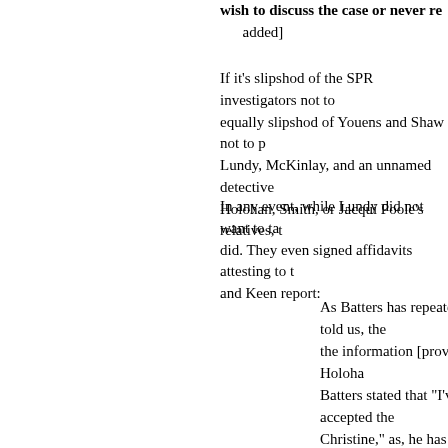wish to discuss the case or never re... added]
If it's slipshod of the SPR investigators not to... equally slipshod of Youens and Shaw not to... Lundy, McKinlay, and an unnamed detective... Holohan, Smith, or Jacqui Poole's relatives,...
In any event, while Lundy did not want to ta... did. They even signed affidavits attesting to t... and Keen report:
As Batters has repeatedly told us, the... the information [provided by Holoha... Batters stated that "I've accepted the... Christine," as, he has told us, have al... has discussed the case.
------
NOTES
* The article "A Possibly Unique Case of Psy... Montague Keen is found in the Journal of th... Number 874, January 2004, pages 1–17. Thi... 2007, can be found online in an archive open...